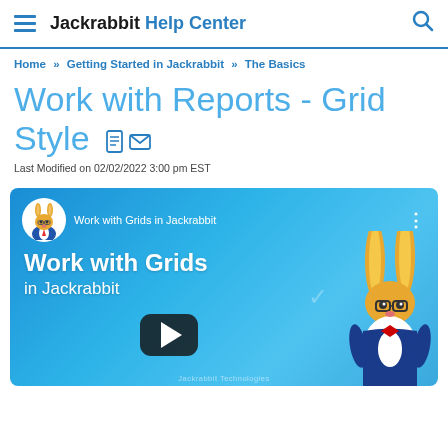Jackrabbit Help Center
Home » Getting Started in Jackrabbit » The Basics
Work with Reports - Grid Style
Last Modified on 02/02/2022 3:00 pm EST
[Figure (screenshot): YouTube-style video thumbnail showing 'Work with Grids in Jackrabbit' with a Jackrabbit rabbit mascot character, a play button, and blue gradient background]